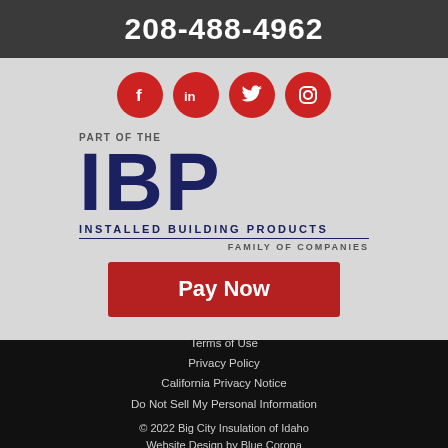208-488-4962
[Figure (logo): Four red circular social media icons: Facebook (f), LinkedIn (in), Twitter (bird), Instagram (camera)]
[Figure (logo): IBP - Installed Building Products logo. Text reads: PART OF THE, IBP in large bold navy letters, INSTALLED BUILDING PRODUCTS, horizontal rule, FAMILY OF COMPANIES]
Pay Now
Terms of Use
Privacy Policy
California Privacy Notice
Do Not Sell My Personal Information
© 2022 Big City Insulation of Idaho
Website Design by Blue Corona